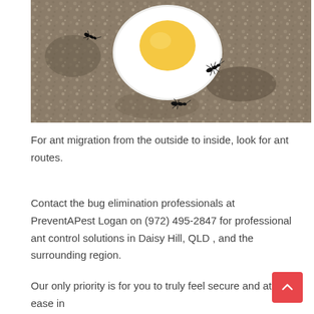[Figure (photo): Close-up photo of ants on a granular surface near a white egg or round white object with a yellow center, resembling a fried egg. Ants are crawling on the white and sandy/gravelly background.]
For ant migration from the outside to inside, look for ant routes.
Contact the bug elimination professionals at PreventAPest Logan on (972) 495-2847 for professional ant control solutions in Daisy Hill, QLD , and the surrounding region.
Our only priority is for you to truly feel secure and at ease in